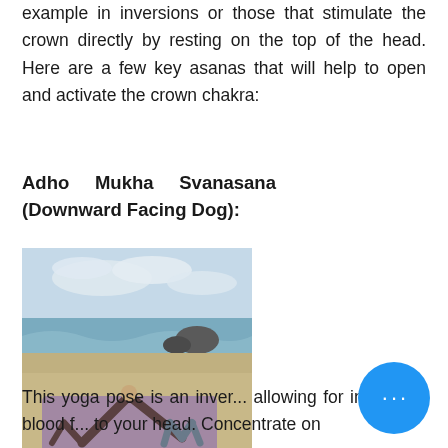example in inversions or those that stimulate the crown directly by resting on the top of the head. Here are a few key asanas that will help to open and activate the crown chakra:
Adho Mukha Svanasana (Downward Facing Dog):
[Figure (photo): Person performing Downward Facing Dog yoga pose on a purple mat on a sandy beach with ocean waves in the background]
This yoga pose is an inver... allowing for increased blood f... to your head. Concentrate on